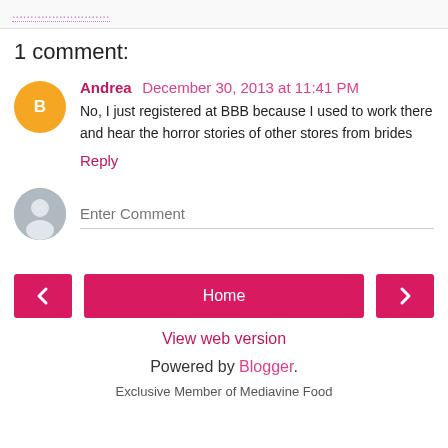1 comment:
Andrea December 30, 2013 at 11:41 PM
No, I just registered at BBB because I used to work there and hear the horror stories of other stores from brides
Reply
Enter Comment
Home
View web version
Powered by Blogger.
Exclusive Member of Mediavine Food